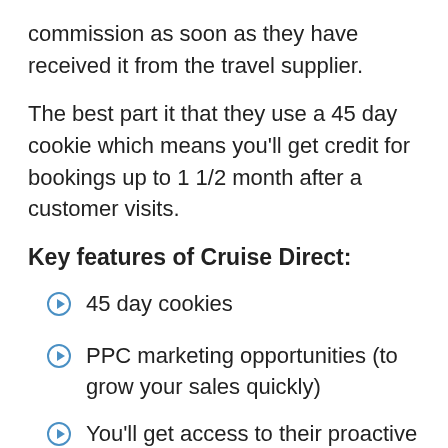commission as soon as they have received it from the travel supplier.
The best part it that they use a 45 day cookie which means you’ll get credit for bookings up to 1 1/2 month after a customer visits.
Key features of Cruise Direct:
45 day cookies
PPC marketing opportunities (to grow your sales quickly)
You’ll get access to their proactive affiliate management team (if you need any help)